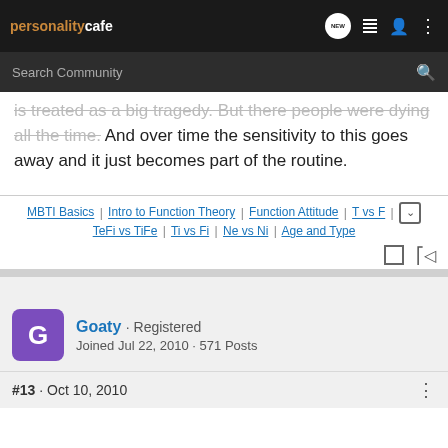personalitycafe
is treated as a big tragedy. But there people were dying all the time. And over time the sensitivity to this goes away and it just becomes part of the routine.
MBTI Basics | Intro to Function Theory | Function Attitude | T vs F | TeFi vs TiFe | Ti vs Fi | Ne vs Ni | Age and Type
Goaty · Registered
Joined Jul 22, 2010 · 571 Posts
#13 · Oct 10, 2010